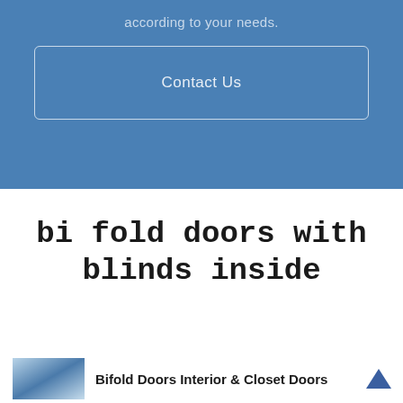according to your needs.
Contact Us
bi fold doors with blinds inside
Bifold Doors Interior & Closet Doors
[Figure (photo): Thumbnail image of bifold doors]